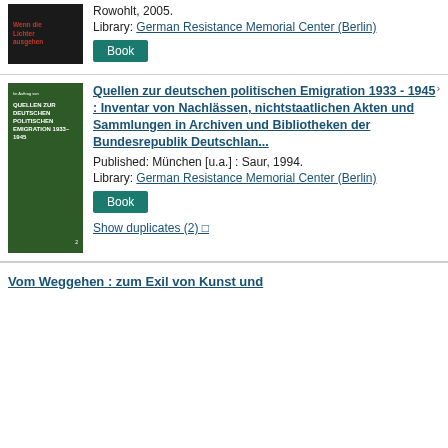[Figure (photo): Book cover: dark background with red text 'Wenn die Lichter ausgehen']
Rowohlt, 2005.
Library: German Resistance Memorial Center (Berlin)
Book
[Figure (photo): Book cover: dark green background with white text 'Quellen zur deutschen politischen Emigration 1933-1945']
Quellen zur deutschen politischen Emigration 1933 - 1945 : Inventar von Nachlässen, nichtstaatlichen Akten und Sammlungen in Archiven und Bibliotheken der Bundesrepublik Deutschlan...
Published: München [u.a.] : Saur, 1994.
Library: German Resistance Memorial Center (Berlin)
Book
Show duplicates (2) □
Vom Weggehen : zum Exil von Kunst und